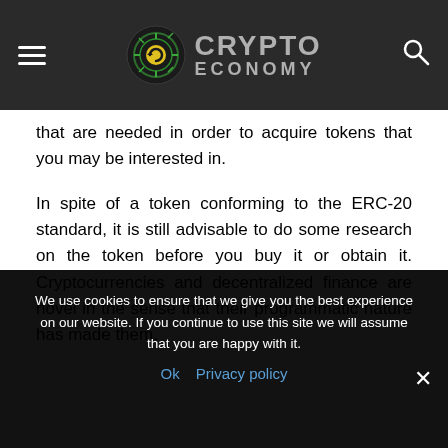Crypto Economy
that are needed in order to acquire tokens that you may be interested in.
In spite of a token conforming to the ERC-20 standard, it is still advisable to do some research on the token before you buy it or obtain it. Cryptocurrencies and decentralized finance are novel in the sense that their programmatic nature has made them.
We use cookies to ensure that we give you the best experience on our website. If you continue to use this site we will assume that you are happy with it.
Ok   Privacy policy